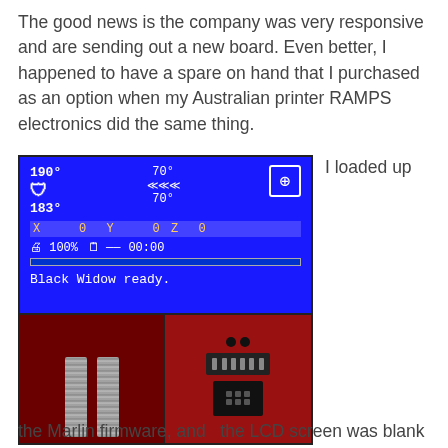The good news is the company was very responsive and are sending out a new board. Even better, I happened to have a spare on hand that I purchased as an option when my Australian printer RAMPS electronics did the same thing.
[Figure (photo): Top: Blue LCD screen showing 3D printer status (190°, 70°, 183°, 70°, X0 Y0 Z0, 100%, 00:00, Black Widow ready.). Bottom left: gray ribbon cables connected to a dark enclosure. Bottom right: red RAMPS electronics board with chips and connectors.]
I loaded up
the Marlin firmware, and   the LCD screen was blank